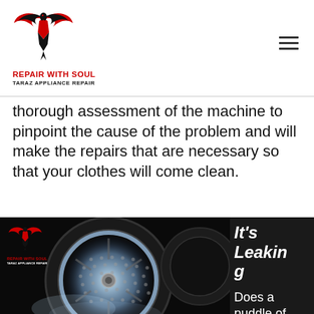REPAIR WITH SOUL
TARAZ APPLIANCE REPAIR
thorough assessment of the machine to pinpoint the cause of the problem and will make the repairs that are necessary so that your clothes will come clean.
[Figure (photo): Photo of a washing machine / dryer drum glowing with blue-white light, dark background, with Repair With Soul logo watermark. Partially cropped on the right by an overlapping dark panel.]
It's Leaking
Does a puddle of